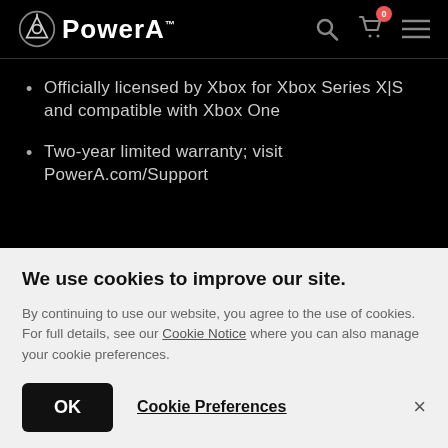PowerA
Officially licensed by Xbox for Xbox Series X|S and compatible with Xbox One
Two-year limited warranty; visit PowerA.com/Support
We use cookies to improve our site.
By continuing to use our website, you agree to the use of cookies. For full details, see our Cookie Notice where you can also manage your cookie preferences.
OK  Cookie Preferences  ×